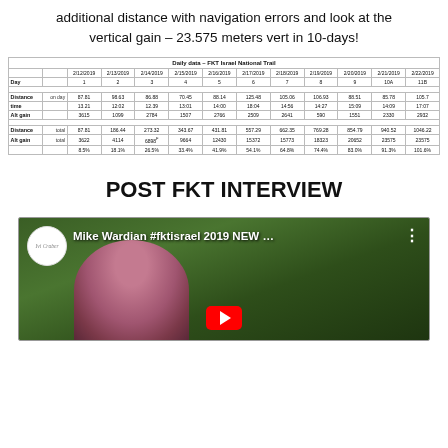additional distance with navigation errors and look at the vertical gain – 23.575 meters vert in 10-days!
|  |  | 2/12/2019 1 | 2/13/2019 2 | 2/14/2019 3 | 2/15/2019 4 | 2/16/2019 5 | 2/17/2019 6 | 2/18/2019 7 | 2/19/2019 8 | 2/20/2019 9 | 2/21/2019 10A | 2/22/2019 11B |
| --- | --- | --- | --- | --- | --- | --- | --- | --- | --- | --- | --- | --- |
| Distance | on day | 87.81 | 98.63 | 86.88 | 70.45 | 88.14 | 125.48 | 105.06 | 106.93 | 88.51 | 85.78 | 105.7 |
| time |  | 13.21 | 12:02 | 12.39 | 13:01 | 14:00 | 18:04 | 14:56 | 14:27 | 15:09 | 14:09 | 17:07 |
| Alt gain |  | 3615 | 1099 | 2784 | 1507 | 2766 | 2509 | 2641 | 590 | 1551 | 2330 | 2932 |
| Distance | total | 87.81 | 186.44 | 273.32 | 343.67 | 431.81 | 557.29 | 662.35 | 769.28 | 854.79 | 940.52 | 1046.22 |
| Alt gain | total | 3622 | 4114 | 6898 | 9664 | 12430 | 15372 | 15773 | 18323 | 20652 | 23575 | 23575 |
|  |  | 8.5% | 18.1% | 26.5% | 33.4% | 41.9% | 54.1% | 64.8% | 74.4% | 83.0% | 91.3% | 101.6% |
POST FKT INTERVIEW
[Figure (screenshot): YouTube video thumbnail showing Mike Wardian #fktisrael 2019 NEW ... with person in pink hoodie against green foliage background]